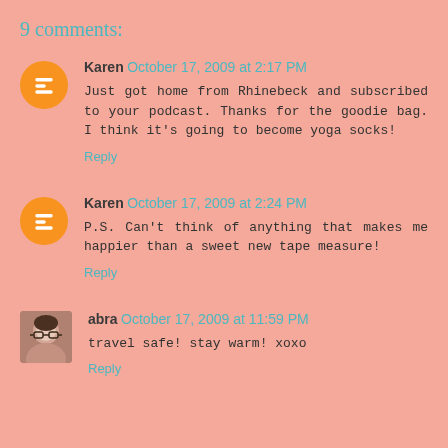9 comments:
Karen October 17, 2009 at 2:17 PM
Just got home from Rhinebeck and subscribed to your podcast. Thanks for the goodie bag. I think it's going to become yoga socks!
Reply
Karen October 17, 2009 at 2:24 PM
P.S. Can't think of anything that makes me happier than a sweet new tape measure!
Reply
abra October 17, 2009 at 11:59 PM
travel safe! stay warm! xoxo
Reply